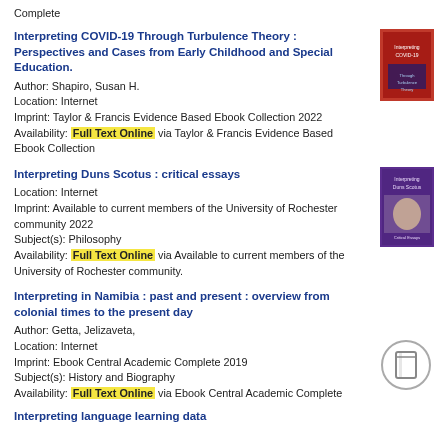Complete
Interpreting COVID-19 Through Turbulence Theory : Perspectives and Cases from Early Childhood and Special Education.
Author: Shapiro, Susan H.
Location: Internet
Imprint: Taylor & Francis Evidence Based Ebook Collection 2022
Availability: Full Text Online via Taylor & Francis Evidence Based Ebook Collection
[Figure (photo): Book cover for Interpreting COVID-19 Through Turbulence Theory]
Interpreting Duns Scotus : critical essays
Location: Internet
Imprint: Available to current members of the University of Rochester community 2022
Subject(s): Philosophy
Availability: Full Text Online via Available to current members of the University of Rochester community.
[Figure (photo): Book cover for Interpreting Duns Scotus : critical essays]
Interpreting in Namibia : past and present : overview from colonial times to the present day
Author: Getta, Jelizaveta,
Location: Internet
Imprint: Ebook Central Academic Complete 2019
Subject(s): History and Biography
Availability: Full Text Online via Ebook Central Academic Complete
[Figure (illustration): Generic book icon placeholder]
Interpreting language learning data